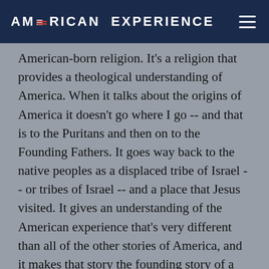AMERICAN EXPERIENCE
American-born religion. It's a religion that provides a theological understanding of America. When it talks about the origins of America it doesn't go where I go -- and that is to the Puritans and then on to the Founding Fathers. It goes way back to the native peoples as a displaced tribe of Israel -- or tribes of Israel -- and a place that Jesus visited. It gives an understanding of the American experience that's very different than all of the other stories of America, and it makes that story the founding story of a rather comprehensive religious perspective on the universe."